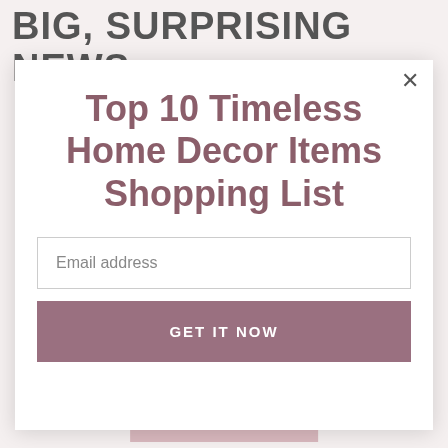BIG, SURPRISING NEWS
Top 10 Timeless Home Decor Items Shopping List
Email address
GET IT NOW
[READ MORE...]